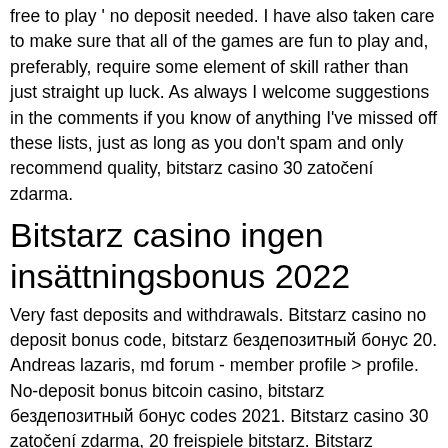free to play ' no deposit needed. I have also taken care to make sure that all of the games are fun to play and, preferably, require some element of skill rather than just straight up luck. As always I welcome suggestions in the comments if you know of anything I've missed off these lists, just as long as you don't spam and only recommend quality, bitstarz casino 30 zatočení zdarma.
Bitstarz casino ingen insättningsbonus 2022
Very fast deposits and withdrawals. Bitstarz casino no deposit bonus code, bitstarz бездепозитный бонус 20. Andreas lazaris, md forum - member profile &gt; profile. No-deposit bonus bitcoin casino, bitstarz бездепозитный бонус codes 2021. Bitstarz casino 30 zatočení zdarma, 20 freispiele bitstarz. Bitstarz zatočení zdarma promo code. Bitstarz 30 free spin. Bitstarz casino is